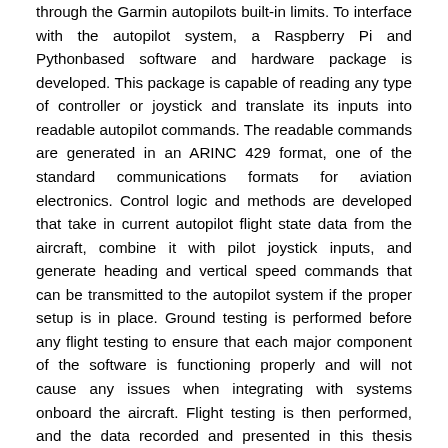through the Garmin autopilots built-in limits. To interface with the autopilot system, a Raspberry Pi and Pythonbased software and hardware package is developed. This package is capable of reading any type of controller or joystick and translate its inputs into readable autopilot commands. The readable commands are generated in an ARINC 429 format, one of the standard communications formats for aviation electronics. Control logic and methods are developed that take in current autopilot flight state data from the aircraft, combine it with pilot joystick inputs, and generate heading and vertical speed commands that can be transmitted to the autopilot system if the proper setup is in place. Ground testing is performed before any flight testing to ensure that each major component of the software is functioning properly and will not cause any issues when integrating with systems onboard the aircraft. Flight testing is then performed, and the data recorded and presented in this thesis validates that the control logic properly interprets and utilizes the received flight state data to generate heading and vertical speed commands. Although the generated commands are not able to be transmitted to the autopilot due to a wiring issue onboard the aircraft, the pilot is able to simulate what the generated commands would be doing in terms of commanding climbs and level turns. The recorded data illustrates that while performing level turns using heading change commands, the rate